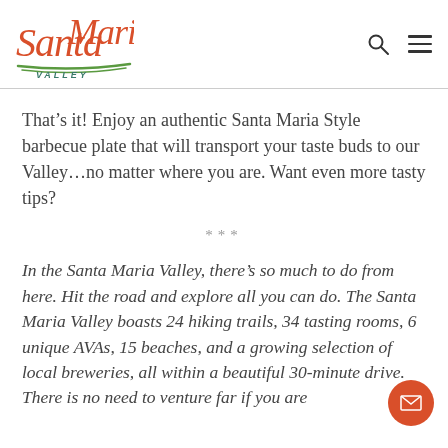Santa Maria Valley
That's it! Enjoy an authentic Santa Maria Style barbecue plate that will transport your taste buds to our Valley…no matter where you are. Want even more tasty tips?
***
In the Santa Maria Valley, there's so much to do from here. Hit the road and explore all you can do. The Santa Maria Valley boasts 24 hiking trails, 34 tasting rooms, 6 unique AVAs, 15 beaches, and a growing selection of local breweries, all within a beautiful 30-minute drive. There is no need to venture far if you are